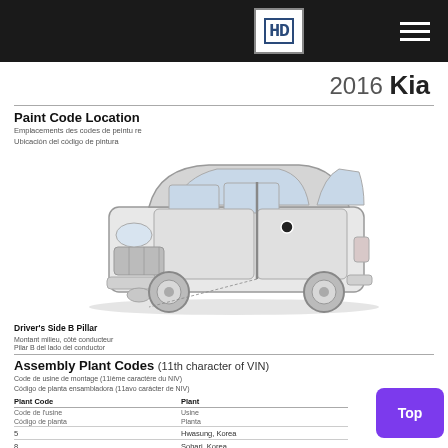HD (logo)
2016 Kia
Paint Code Location
Emplacements des codes de peinture
Ubicación del código de pintura
[Figure (illustration): Line drawing of a 2016 Kia Soul vehicle showing driver's side B pillar location marked with a dot]
Driver's Side B Pillar
Montant milieu, côté conducteur
Pilar B del lado del conductor
Assembly Plant Codes (11th character of VIN)
Code de usine de montage (11ième caractère du NIV)
Código de planta ensambladora (11avo carácter de NIV)
| Plant Code
Code de l'usine
Código de planta | Plant
Usine
Planta |
| --- | --- |
| 5 | Hwasung, Korea |
| 8 | Sohari, Korea |